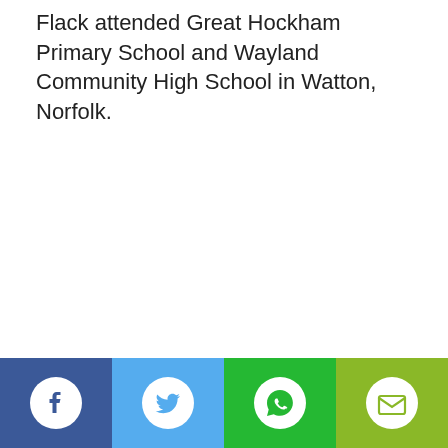Flack attended Great Hockham Primary School and Wayland Community High School in Watton, Norfolk.
[Figure (other): Social sharing bar with four buttons: Facebook (dark blue), Twitter (light blue), WhatsApp (green), Email (yellow-green), each showing a white circular icon]